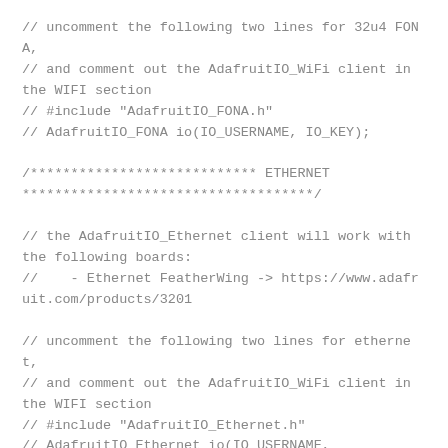// uncomment the following two lines for 32u4 FONA,
// and comment out the AdafruitIO_WiFi client in the WIFI section
// #include "AdafruitIO_FONA.h"
// AdafruitIO_FONA io(IO_USERNAME, IO_KEY);

/**************************** ETHERNET ************************************/

// the AdafruitIO_Ethernet client will work with the following boards:
//    - Ethernet FeatherWing -> https://www.adafruit.com/products/3201

// uncomment the following two lines for ethernet,
// and comment out the AdafruitIO_WiFi client in the WIFI section
// #include "AdafruitIO_Ethernet.h"
// AdafruitIO_Ethernet io(IO_USERNAME, IO_KEY);